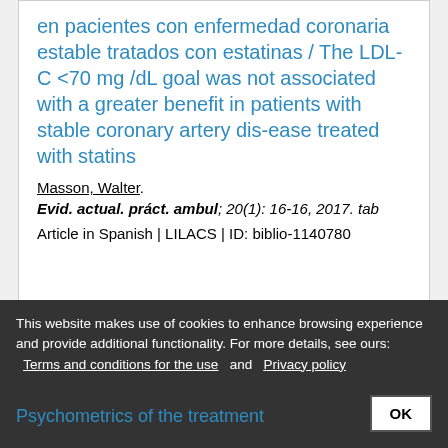en pacientes con enfermedad coronaria estable tratados con estatinas / The LDL-C <70 mg /dL goal was not associated with a greater benefit in patients with stable coronary artery dis-ease treated with statins
Masson, Walter.
Evid. actual. práct. ambul; 20(1): 16-16, 2017. tab
Article in Spanish | LILACS | ID: biblio-1140780
This website makes use of cookies to enhance browsing experience and provide additional functionality. For more details, see ours: Terms and conditions for the use and Privacy policy